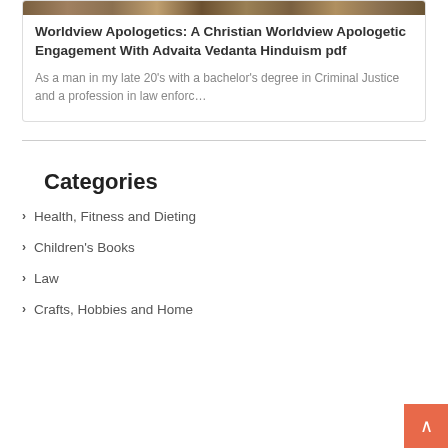[Figure (photo): Thumbnail image showing a brown/earthy textured background, likely a book cover photo]
Worldview Apologetics: A Christian Worldview Apologetic Engagement With Advaita Vedanta Hinduism pdf
As a man in my late 20's with a bachelor's degree in Criminal Justice and a profession in law enforc…
Categories
Health, Fitness and Dieting
Children's Books
Law
Crafts, Hobbies and Home